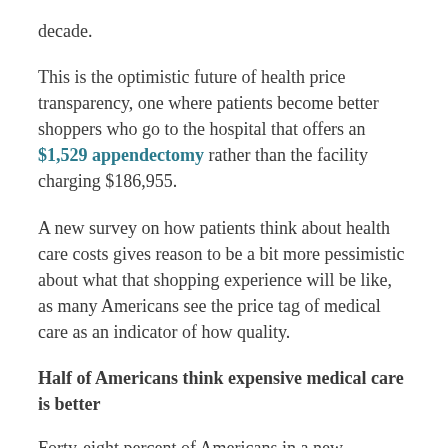decade.
This is the optimistic future of health price transparency, one where patients become better shoppers who go to the hospital that offers an $1,529 appendectomy rather than the facility charging $186,955.
A new survey on how patients think about health care costs gives reason to be a bit more pessimistic about what that shopping experience will be like, as many Americans see the price tag of medical care as an indicator of how quality.
Half of Americans think expensive medical care is better
Forty-eight percent of Americans in a new